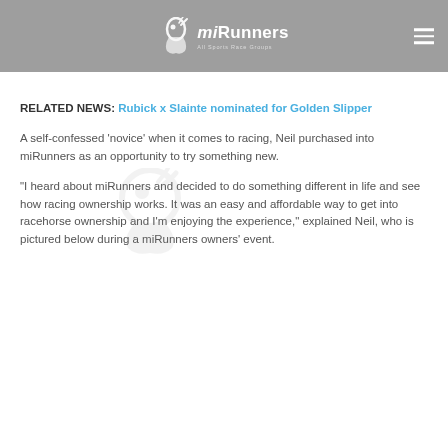miRunners
RELATED NEWS: Rubick x Slainte nominated for Golden Slipper
A self-confessed ‘novice’ when it comes to racing, Neil purchased into miRunners as an opportunity to try something new.
“I heard about miRunners and decided to do something different in life and see how racing ownership works. It was an easy and affordable way to get into racehorse ownership and I’m enjoying the experience,” explained Neil, who is pictured below during a miRunners owners’ event.